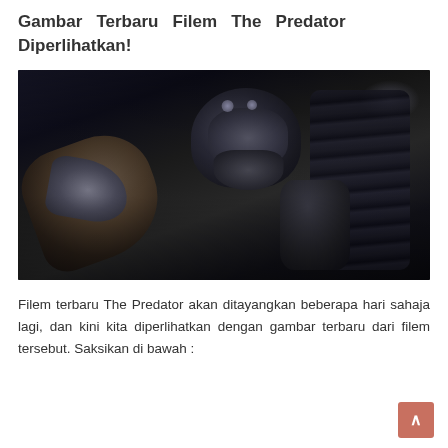Gambar Terbaru Filem The Predator Diperlihatkan!
[Figure (photo): A dark, dramatic close-up image of the Predator creature from the film 'The Predator', showing its armored head with mandibles, metallic dreadlocks, shoulder armor, and an outstretched clawed arm reaching toward the camera. The background is very dark with a faint blue-white light glow in the upper right.]
Filem terbaru The Predator akan ditayangkan beberapa hari sahaja lagi, dan kini kita diperlihatkan dengan gambar terbaru dari filem tersebut. Saksikan di bawah :